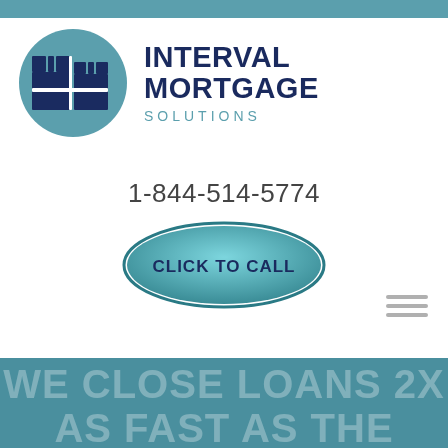[Figure (logo): Interval Mortgage Solutions logo: teal circle with dark blue building/castle battlements icon, company name in dark navy bold uppercase letters with teal 'SOLUTIONS' subtitle]
1-844-514-5774
[Figure (illustration): Teal oval button with dark text 'CLICK TO CALL']
WE CLOSE LOANS 2x AS FAST AS THE